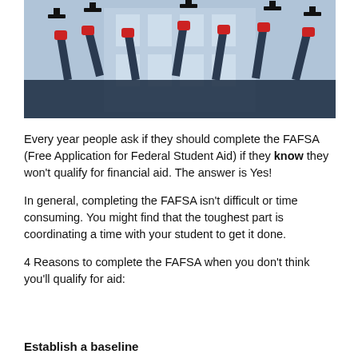[Figure (photo): Graduation photo showing students in caps and gowns throwing mortarboard caps into the air in front of a building]
Every year people ask if they should complete the FAFSA (Free Application for Federal Student Aid) if they know they won't qualify for financial aid.  The answer is Yes!
In general, completing the FAFSA isn't difficult or time consuming.  You might find that the toughest part is coordinating a time with your student to get it done.
4 Reasons to complete the FAFSA when you don't think you'll qualify for aid:
Establish a baseline